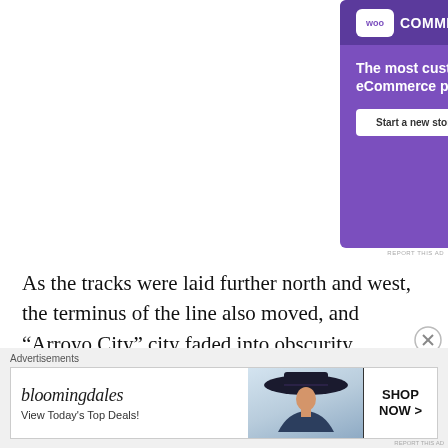[Figure (illustration): WooCommerce advertisement banner with purple background, WooCommerce logo, tagline 'The most customizable eCommerce platform', 'Start a new store' button, and ecommerce interface illustration on the right.]
As the tracks were laid further north and west, the terminus of the line also moved, and “Arroyo City” city faded into obscurity. Ranching and farming became the main profit making enterprises once the railroad
[Figure (illustration): Bloomingdale's advertisement banner showing logo, 'View Today's Top Deals!' text, woman with large hat, and 'SHOP NOW >' button.]